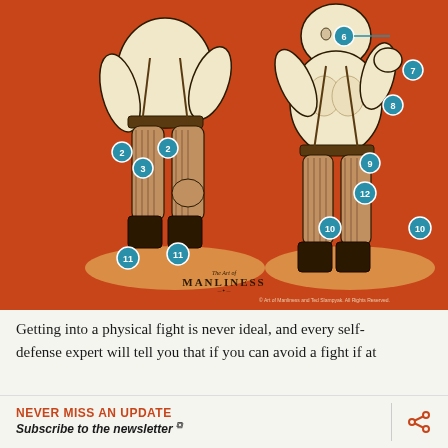[Figure (illustration): Vintage illustration of two bare-chested boxers on an orange/red background. The left fighter is shown from the back, the right fighter faces forward in a fighting stance. Both wear striped trousers and boots. Numbered teal/blue circular markers indicate body target points: 2 (both sides of left fighter's waist), 3 (lower back of left fighter), 6 (neck/head area of right fighter with line), 7 (shoulder of right fighter), 8 (chest of right fighter), 9 (abdomen of right fighter), 10 (knee area of right fighter, both sides), 11 (ankle/foot area of left fighter, both sides), 12 (hip/groin of right fighter). The Art of Manliness logo and copyright notice appear at the bottom.]
Getting into a physical fight is never ideal, and every self-defense expert will tell you that if you can avoid a fight if at
NEVER MISS AN UPDATE
Subscribe to the newsletter